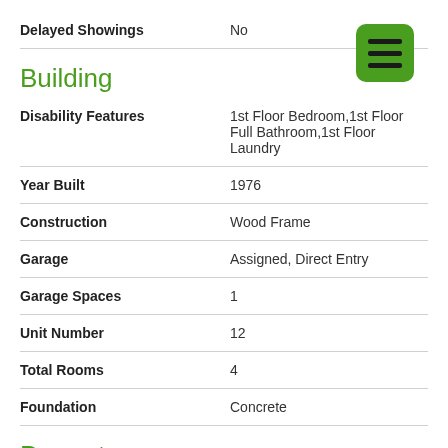| Delayed Showings | No |
Building
| Disability Features | 1st Floor Bedroom,1st Floor Full Bathroom,1st Floor Laundry |
| Year Built | 1976 |
| Construction | Wood Frame |
| Garage | Assigned, Direct Entry |
| Garage Spaces | 1 |
| Unit Number | 12 |
| Total Rooms | 4 |
| Foundation | Concrete |
Property